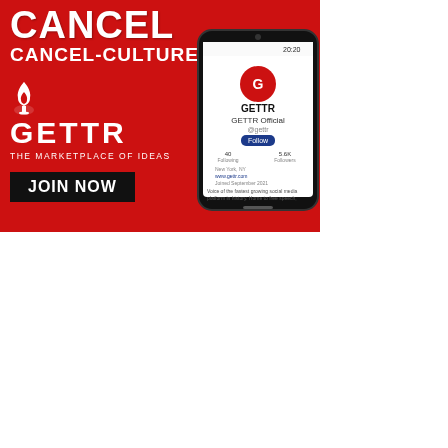[Figure (illustration): GETTR social media advertisement on red background. Text reads: CANCEL CANCEL-CULTURE, GETTR THE MARKETPLACE OF IDEAS, JOIN NOW. Shows a phone mockup of the GETTR app.]
[Figure (illustration): Book advertisement for 'The Woking Dead'. Left side shows order now text and a quote from Judge Jeanine Pirro. Right side shows the book cover with a hand reaching up in front of a building, title THE WOKING DEAD.]
ORDER YOUR COPY NOW!
Stop what you're doing right now and pick up a copy of The Woking Dead!" — Judge Jeanine Pirro, co-host of Fox News Channel's The Five, and #1 New York Times bestselling author